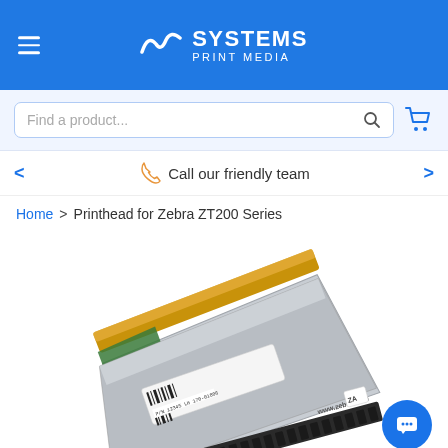SYSTEMS PRINT MEDIA
Find a product...
Call our friendly team
Home > Printhead for Zebra ZT200 Series
[Figure (photo): Printhead hardware component for Zebra ZT200 Series printer, shown at an angle with gold thermal strip, silver metal body, black connectors, and a label/barcode sticker. Manufacturer: Zebra.]